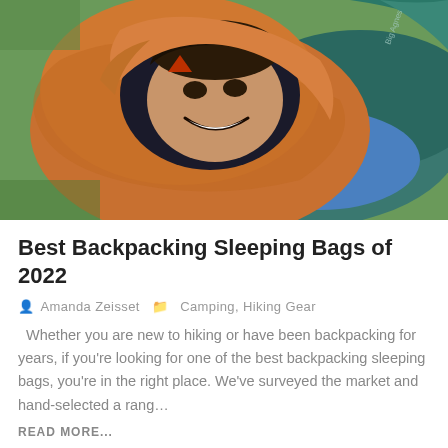[Figure (photo): A smiling person inside an orange sleeping bag with a teal/green sleeping bag or pad visible nearby, photographed from above at close range. The person is wearing the sleeping bag like a hood around their face.]
Best Backpacking Sleeping Bags of 2022
Amanda Zeisset  Camping, Hiking Gear
Whether you are new to hiking or have been backpacking for years, if you're looking for one of the best backpacking sleeping bags, you're in the right place. We've surveyed the market and hand-selected a rang…
READ MORE...